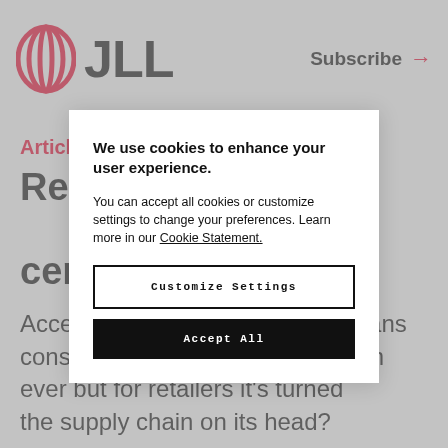JLL | Subscribe →
Article
Redesigning last-mile logistics: how same-day delivery means consumers are better served than ever but for retailers it's turned the supply chain on its head?
We use cookies to enhance your user experience.

You can accept all cookies or customize settings to change your preferences. Learn more in our Cookie Statement.
Customize Settings
Accept All